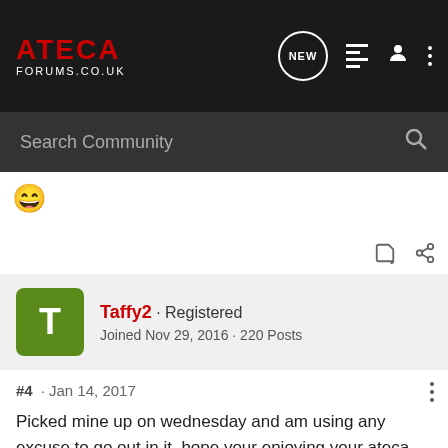ATECA FORUMS.CO.UK
Search Community
[Figure (other): Grinning face emoji]
Taffy2 · Registered
Joined Nov 29, 2016 · 220 Posts
#4 · Jan 14, 2017
Picked mine up on wednesday and am using any excuse to go out in it, hope your enjoying your ateca experience as much as me 😀 colours great by the way.